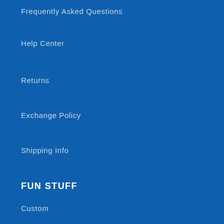Frequently Asked Questions
Help Center
Returns
Exchange Policy
Shipping Info
FUN STUFF
Custom
Sports
Entertainment